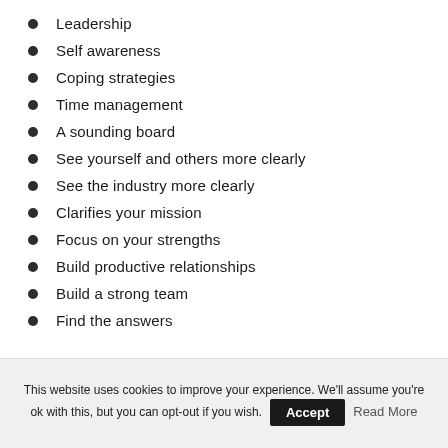Leadership
Self awareness
Coping strategies
Time management
A sounding board
See yourself and others more clearly
See the industry more clearly
Clarifies your mission
Focus on your strengths
Build productive relationships
Build a strong team
Find the answers
This website uses cookies to improve your experience. We'll assume you're ok with this, but you can opt-out if you wish. Accept Read More